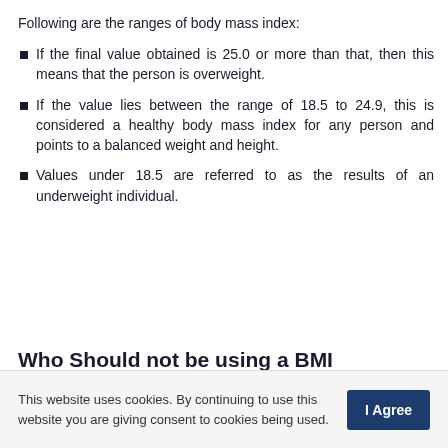Following are the ranges of body mass index:
If the final value obtained is 25.0 or more than that, then this means that the person is overweight.
If the value lies between the range of 18.5 to 24.9, this is considered a healthy body mass index for any person and points to a balanced weight and height.
Values under 18.5 are referred to as the results of an underweight individual.
Who Should not be using a BMI
This website uses cookies. By continuing to use this website you are giving consent to cookies being used.